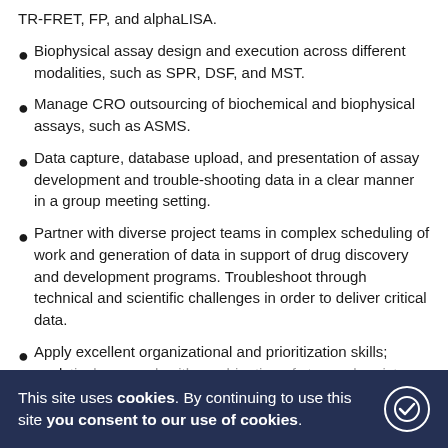TR-FRET, FP, and alphaLISA.
Biophysical assay design and execution across different modalities, such as SPR, DSF, and MST.
Manage CRO outsourcing of biochemical and biophysical assays, such as ASMS.
Data capture, database upload, and presentation of assay development and trouble-shooting data in a clear manner in a group meeting setting.
Partner with diverse project teams in complex scheduling of work and generation of data in support of drug discovery and development programs. Troubleshoot through technical and scientific challenges in order to deliver critical data.
Apply excellent organizational and prioritization skills; analytical approach with combination of strong chemistry and biophysical/biochemical assay development expertise and scientific challenges in order to deliver critical data.
This site uses cookies. By continuing to use this site you consent to our use of cookies.